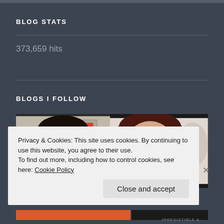BLOG STATS
373,659 hits
BLOGS I FOLLOW
[Figure (photo): Two side-by-side blog avatar photos: left shows a man's face close-up, right shows a woman with glasses close-up]
Privacy & Cookies: This site uses cookies. By continuing to use this website, you agree to their use.
To find out more, including how to control cookies, see here: Cookie Policy
Close and accept